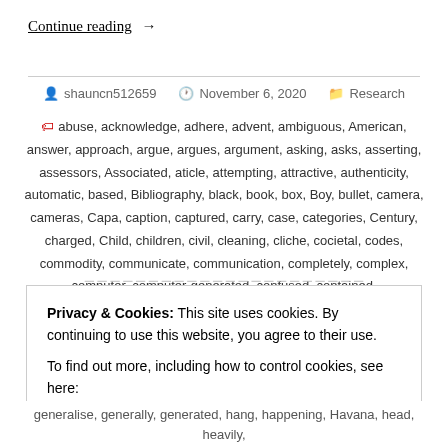Continue reading  →
shauncn512659  November 6, 2020  Research
abuse, acknowledge, adhere, advent, ambiguous, American, answer, approach, argue, argues, argument, asking, asks, asserting, assessors, Associated, aticle, attempting, attractive, authenticity, automatic, based, Bibliography, black, book, box, Boy, bullet, camera, cameras, Capa, caption, captured, carry, case, categories, Century, charged, Child, children, civil, cleaning, cliche, cocietal, codes, commodity, communicate, communication, completely, complex, computer, computer-generated, confused, contained,
Privacy & Cookies: This site uses cookies. By continuing to use this website, you agree to their use.
To find out more, including how to control cookies, see here:
Cookie Policy
Close and accept
generalise, generally, generated, hang, happening, Havana, head, heavily,